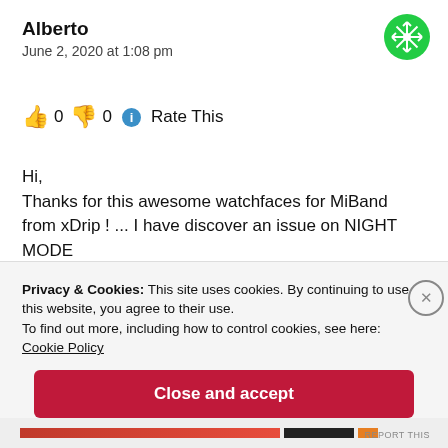Alberto
June 2, 2020 at 1:08 pm
[Figure (illustration): Green snowflake/geometric avatar icon in top-right corner]
👍 0 👎 0 ℹ Rate This
Hi,
Thanks for this awesome watchfaces for MiBand from xDrip ! ... I have discover an issue on NIGHT MODE
Privacy & Cookies: This site uses cookies. By continuing to use this website, you agree to their use.
To find out more, including how to control cookies, see here:
Cookie Policy
Close and accept